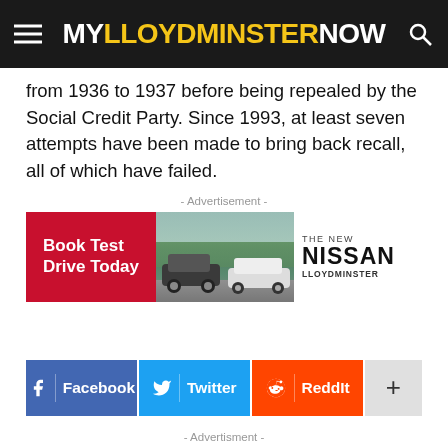MYLLOYDMINSTERNOW
from 1936 to 1937 before being repealed by the Social Credit Party. Since 1993, at least seven attempts have been made to bring back recall, all of which have failed.
- Advertisement -
[Figure (photo): Nissan Lloydminster advertisement banner showing 'Book Test Drive Today' with car images and Nissan branding]
[Figure (infographic): Social share buttons: Facebook, Twitter, ReddIt, and more (+)]
- Advertisment -